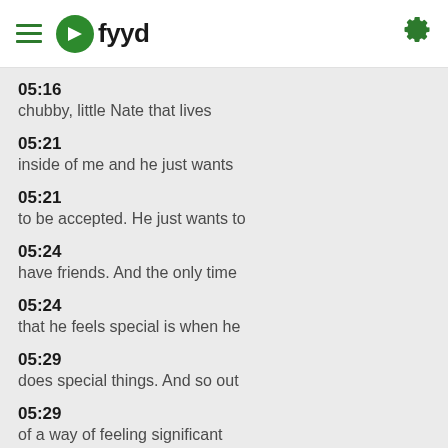fyyd
05:16
chubby, little Nate that lives
05:21
inside of me and he just wants
05:21
to be accepted. He just wants to
05:24
have friends. And the only time
05:24
that he feels special is when he
05:29
does special things. And so out
05:29
of a way of feeling significant
05:34
in a social setting, but also to
05:34